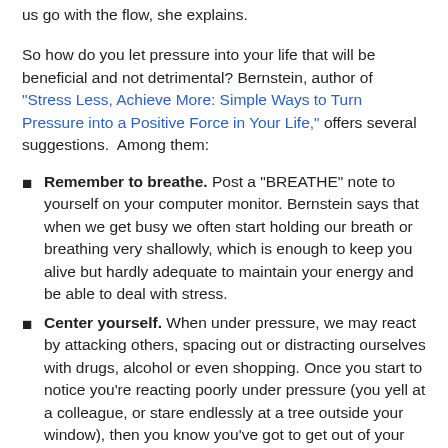us go with the flow, she explains.
So how do you let pressure into your life that will be beneficial and not detrimental? Bernstein, author of “Stress Less, Achieve More: Simple Ways to Turn Pressure into a Positive Force in Your Life,” offers several suggestions.  Among them:
Remember to breathe. Post a “BREATHE” note to yourself on your computer monitor. Bernstein says that when we get busy we often start holding our breath or breathing very shallowly, which is enough to keep you alive but hardly adequate to maintain your energy and be able to deal with stress.
Center yourself. When under pressure, we may react by attacking others, spacing out or distracting ourselves with drugs, alcohol or even shopping. Once you start to notice you're reacting poorly under pressure (you yell at a colleague, or stare endlessly at a tree outside your window), then you know you've got to get out of your own